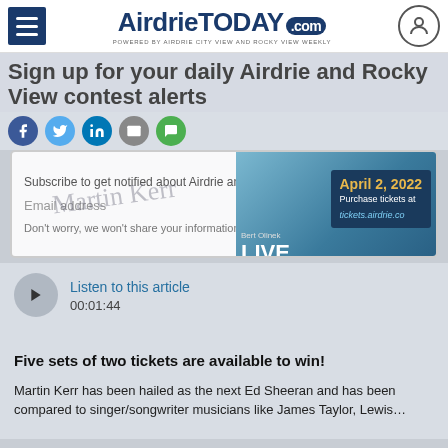AirdrieToday.com — POWERED BY AIRDRIE CITY VIEW AND ROCKY VIEW WEEKLY
Sign up for your daily Airdrie and Rocky View contest alerts
[Figure (screenshot): Social media sharing icons: Facebook, Twitter, LinkedIn, Email, SMS]
[Figure (screenshot): Newsletter subscription modal overlaid with a concert advertisement for Bert Olinek LIVE Theatre, April 2, 2022, Purchase tickets at tickets.airdrie.co; also shows a handwritten signature overlay and a form with Email address field]
[Figure (other): Audio player with play button, 'Listen to this article' link, and duration 00:01:44]
Five sets of two tickets are available to win!
Martin Kerr has been hailed as the next Ed Sheeran and has been compared to singer/songwriter musicians like James Taylor, Lewis...